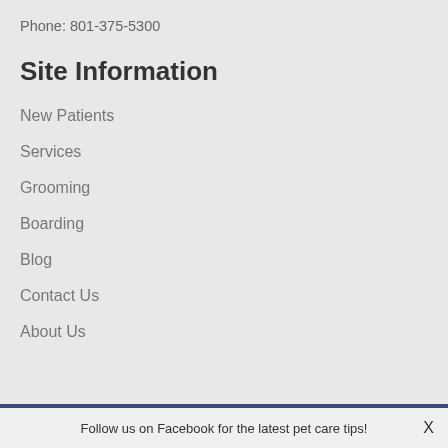Phone: 801-375-5300
Site Information
New Patients
Services
Grooming
Boarding
Blog
Contact Us
About Us
Follow us on Facebook for the latest pet care tips!